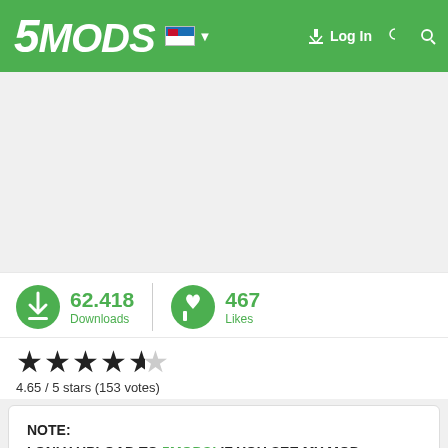5MODS | Log In
62.418 Downloads | 467 Likes
4.65 / 5 stars (153 votes)
NOTE:
I ONLY UPLOAD TO 5MODS! IF YOU SEE MY MOD UPLOADED ON ANOTHER SITE, IT WAS NOT UPLOADED BY ME!

Overview:
Watch Your Death prevents the wasted screen from appearing